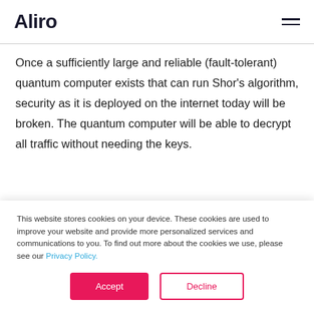Aliro
Once a sufficiently large and reliable (fault-tolerant) quantum computer exists that can run Shor's algorithm, security as it is deployed on the internet today will be broken. The quantum computer will be able to decrypt all traffic without needing the keys.
How QKD works
This website stores cookies on your device. These cookies are used to improve your website and provide more personalized services and communications to you. To find out more about the cookies we use, please see our Privacy Policy.